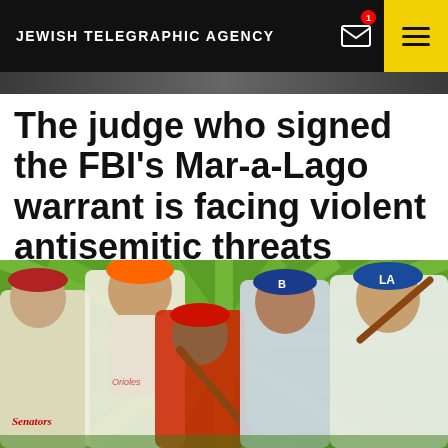JEWISH TELEGRAPHIC AGENCY
The judge who signed the FBI’s Mar-a-Lago warrant is facing violent antisemitic threats
[Figure (photo): Composite photo of baseball players in vintage uniforms against a green sunburst background, including players in Orioles, Senators, and Dodgers uniforms]